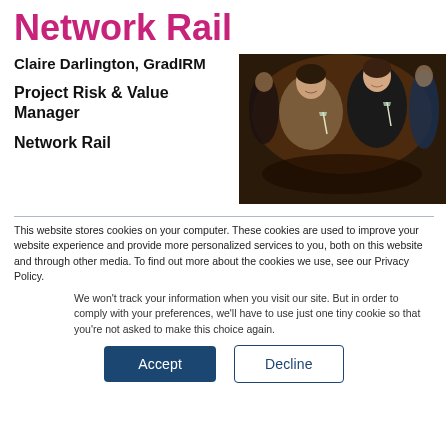Network Rail
Claire Darlington, GradIRM
Project Risk & Value Manager
Network Rail
[Figure (photo): Two women in formal evening wear at a gala event, holding glasses, smiling at the camera, with other guests in the background.]
This website stores cookies on your computer. These cookies are used to improve your website experience and provide more personalized services to you, both on this website and through other media. To find out more about the cookies we use, see our Privacy Policy.
We won't track your information when you visit our site. But in order to comply with your preferences, we'll have to use just one tiny cookie so that you're not asked to make this choice again.
Accept
Decline